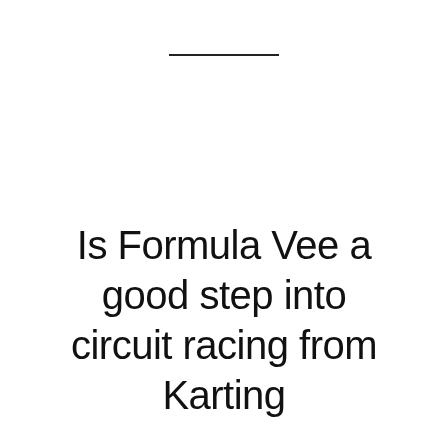Is Formula Vee a good step into circuit racing from Karting